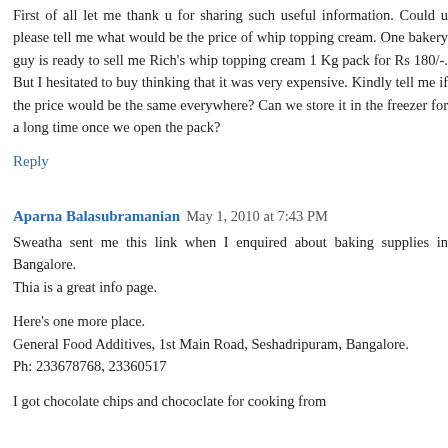First of all let me thank u for sharing such useful information. Could u please tell me what would be the price of whip topping cream. One bakery guy is ready to sell me Rich's whip topping cream 1 Kg pack for Rs 180/-. But I hesitated to buy thinking that it was very expensive. Kindly tell me if the price would be the same everywhere? Can we store it in the freezer for a long time once we open the pack?
Reply
Aparna Balasubramanian  May 1, 2010 at 7:43 PM
Sweatha sent me this link when I enquired about baking supplies in Bangalore.
Thia is a great info page.

Here's one more place.
General Food Additives, 1st Main Road, Seshadripuram, Bangalore.
Ph: 233678768, 23360517

I got chocolate chips and chococlate for cooking from